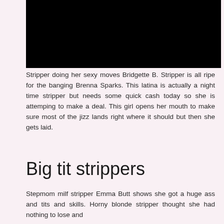[Figure (photo): Black image block at top of page]
Stripper doing her sexy moves Bridgette B. Stripper is all ripe for the banging Brenna Sparks. This latina is actually a night time stripper but needs some quick cash today so she is attemping to make a deal. This girl opens her mouth to make sure most of the jizz lands right where it should but then she gets laid.
Big tit strippers
Stepmom milf stripper Emma Butt shows she got a huge ass and tits and skills. Horny blonde stripper thought she had nothing to lose and